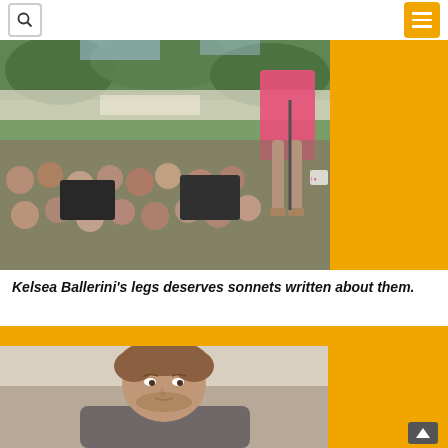[Figure (photo): Concert photo showing a performer in a pink dress on stage seen from the waist down with legs visible, and a large crowd of fans below in an outdoor venue with trees in the background. An orange panel on the right side.]
Kelsea Ballerini's legs deserves sonnets written about them.
[Figure (photo): Portrait photo of a young man with brown hair and a beard wearing a grey t-shirt, photographed against a light background. An orange panel on the right side and an orange bar at the top.]